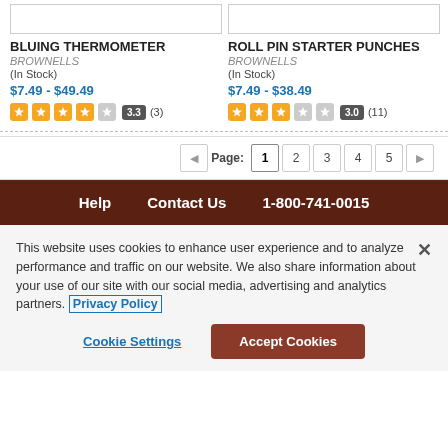BLUING THERMOMETER
BROWNELLS
(In Stock)
$7.49 - $49.49
Rating: 3.3 (3 reviews)
ROLL PIN STARTER PUNCHES
BROWNELLS
(In Stock)
$7.49 - $38.49
Rating: 3.0 (11 reviews)
Page: 1 2 3 4 5
Help   Contact Us   1-800-741-0015
This website uses cookies to enhance user experience and to analyze performance and traffic on our website. We also share information about your use of our site with our social media, advertising and analytics partners. Privacy Policy
Cookie Settings   Accept Cookies